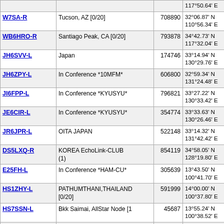| Callsign | Location | Node ID | Coordinates | Grid | ... |
| --- | --- | --- | --- | --- | --- |
|  |  |  | 117°50.64' E |  |  |
| W7SA-R | Tucson, AZ [0/20] | 708890 | 32°06.87' N 110°56.34' E | OM52lc | 12 |
| WB6HRO-R | Santiago Peak, CA [0/20] | 793878 | 34°42.73' N 117°32.04' E | OM84sr | 12 |
| JH6SVV-L | Japan | 174746 | 33°14.94' N 130°29.76' E | PM53ff | 13 |
| JH6ZPY-L | In Conference *10MFM* | 606800 | 32°59.34' N 131°24.48' E | PM52qx | 13 |
| JI6FPP-L | In Conference *KYUSYU* | 796821 | 33°27.22' N 130°33.42' E | PM53gk | 13 |
| JE6CIR-L | In Conference *KYUSYU* | 354774 | 33°33.63' N 130°26.46' E | PM53fn | 13 |
| JR6JPR-L | OITA JAPAN | 522148 | 33°14.32' N 131°42.42' E | PM53uf | 13 |
| DS5LXQ-R | KOREA EchoLink-CLUB (1) | 854119 | 34°58.05' N 128°19.80' E | PM44dx | 13 |
| E25FH-L | In Conference *HAM-CU* | 305639 | 13°43.50' N 100°41.70' E | OK03ir | 13 |
| HS1ZHY-L | PATHUMTHANI,THAILAND [0/20] | 591999 | 14°00.00' N 100°37.80' E | OK04ha | 13 |
| HS7SSN-L | Bkk Saimai, AllStar Node [1 | 45687 | 13°55.24' N 100°38.52' E | OK03hw | 13 |
| JF6PRY-L | In Conference *10MFM* | 57902 | 33°38.32' N 131°53.94' E | PM53wp | 13 |
| JH6ZSJ-L | In Conference *10MFM* | 297163 | 33°38.32' N | PM53wp | 13 |